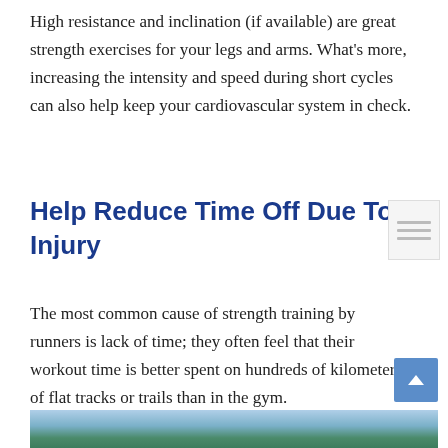High resistance and inclination (if available) are great strength exercises for your legs and arms. What's more, increasing the intensity and speed during short cycles can also help keep your cardiovascular system in check.
Help Reduce Time Off Due To Injury
The most common cause of strength training by runners is lack of time; they often feel that their workout time is better spent on hundreds of kilometers of flat tracks or trails than in the gym.
[Figure (photo): Partial photo of a runner/athlete outdoors, cropped at the bottom of the page. Blue sky and trees visible in the background.]